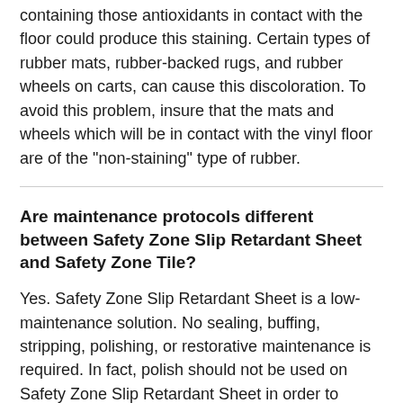containing those antioxidants in contact with the floor could produce this staining. Certain types of rubber mats, rubber-backed rugs, and rubber wheels on carts, can cause this discoloration. To avoid this problem, insure that the mats and wheels which will be in contact with the vinyl floor are of the "non-staining" type of rubber.
Are maintenance protocols different between Safety Zone Slip Retardant Sheet and Safety Zone Tile?
Yes. Safety Zone Slip Retardant Sheet is a low-maintenance solution. No sealing, buffing, stripping, polishing, or restorative maintenance is required. In fact, polish should not be used on Safety Zone Slip Retardant Sheet in order to retain its safety features.
Initial maintenance is quick and easy for Safety